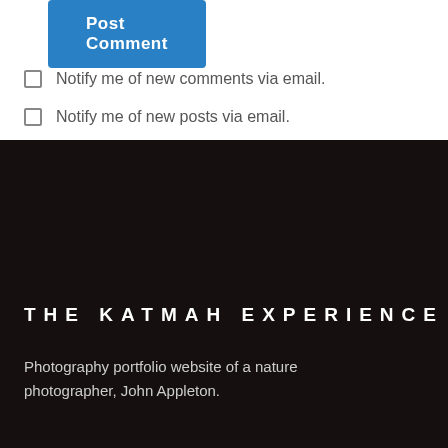Post Comment
Notify me of new comments via email.
Notify me of new posts via email.
THE KATMAH EXPERIENCE
Photography portfolio website of a nature photographer, John Appleton.
ADDRESS
123 Example St,